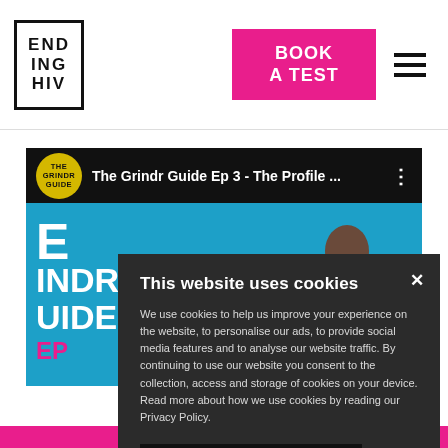ENDING HIV | BOOK A TEST
[Figure (screenshot): YouTube embed showing 'The Grindr Guide Ep 3 - The Profile ...' with a blue thumbnail background, white text, and a person visible.]
This website uses cookies
We use cookies to help us improve your experience on the website, to personalise our ads, to provide social media features and to analyse our website traffic. By continuing to use our website you consent to the collection, access and storage of cookies on your device. Read more about how we use cookies by reading our Privacy Policy.
READ MORE